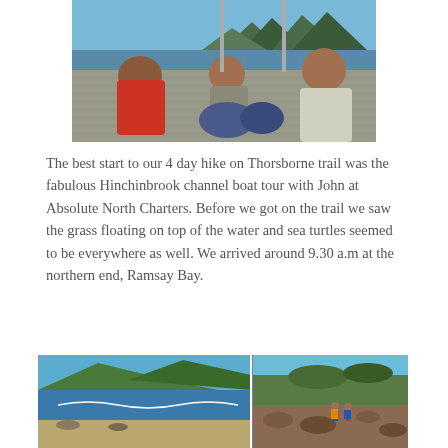[Figure (photo): People sitting on a boat deck viewed from behind, with water and mountains visible in the background under a blue sky.]
The best start to our 4 day hike on Thorsborne trail was the fabulous Hinchinbrook channel boat tour with John at Absolute North Charters. Before we got on the trail we saw the grass floating on top of the water and sea turtles seemed to be everywhere as well. We arrived around 9.30 a.m at the northern end, Ramsay Bay.
[Figure (photo): Two side-by-side photos: left shows a coastal landscape with green hills and a beach; right shows hikers walking on rocky terrain with shrubby vegetation.]